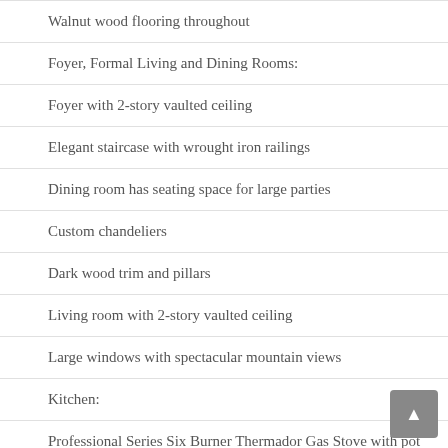Walnut wood flooring throughout
Foyer, Formal Living and Dining Rooms:
Foyer with 2-story vaulted ceiling
Elegant staircase with wrought iron railings
Dining room has seating space for large parties
Custom chandeliers
Dark wood trim and pillars
Living room with 2-story vaulted ceiling
Large windows with spectacular mountain views
Kitchen:
Professional Series Six Burner Thermador Gas Stove with pot filler